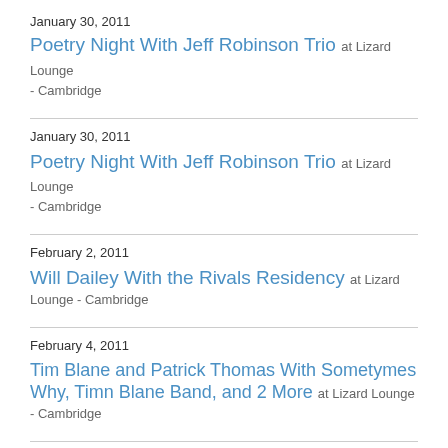January 30, 2011
Poetry Night With Jeff Robinson Trio at Lizard Lounge - Cambridge
January 30, 2011
Poetry Night With Jeff Robinson Trio at Lizard Lounge - Cambridge
February 2, 2011
Will Dailey With the Rivals Residency at Lizard Lounge - Cambridge
February 4, 2011
Tim Blane and Patrick Thomas With Sometymes Why, Timn Blane Band, and 2 More at Lizard Lounge - Cambridge
February 4, 2011